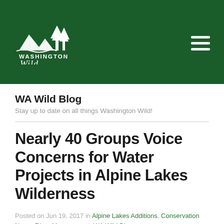[Figure (logo): Washington Wild organization logo — white mountains and trees silhouette above text 'WASHINGTON Wild' in white on dark green background, with hamburger menu icon top right]
WA Wild Blog
Stay up to date on all things Washington Wild!
Nearly 40 Groups Voice Concerns for Water Projects in Alpine Lakes Wilderness
Posted on Jun 19, 2017 in Alpine Lakes Additions, Conservation News, River Management, WA Wild Blog